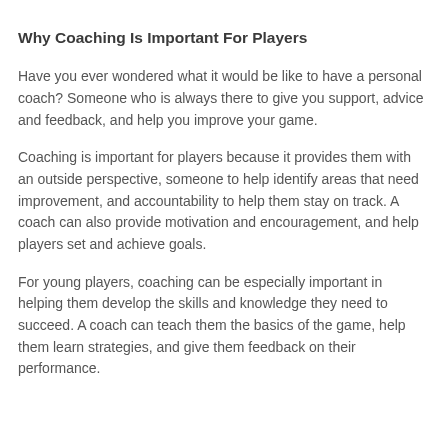Why Coaching Is Important For Players
Have you ever wondered what it would be like to have a personal coach? Someone who is always there to give you support, advice and feedback, and help you improve your game.
Coaching is important for players because it provides them with an outside perspective, someone to help identify areas that need improvement, and accountability to help them stay on track. A coach can also provide motivation and encouragement, and help players set and achieve goals.
For young players, coaching can be especially important in helping them develop the skills and knowledge they need to succeed. A coach can teach them the basics of the game, help them learn strategies, and give them feedback on their performance.